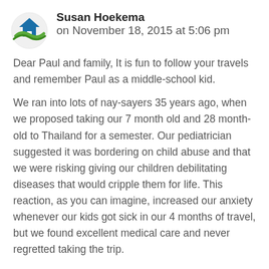[Figure (logo): Circular logo with a blue house icon and green swoosh/landscape element below]
Susan Hoekema on November 18, 2015 at 5:06 pm
Dear Paul and family, It is fun to follow your travels and remember Paul as a middle-school kid.
We ran into lots of nay-sayers 35 years ago, when we proposed taking our 7 month old and 28 month-old to Thailand for a semester. Our pediatrician suggested it was bordering on child abuse and that we were risking giving our children debilitating diseases that would cripple them for life. This reaction, as you can imagine, increased our anxiety whenever our kids got sick in our 4 months of travel, but we found excellent medical care and never regretted taking the trip.
Re mechanical matters, our experience in Ghana maintaining a car, while not wholly